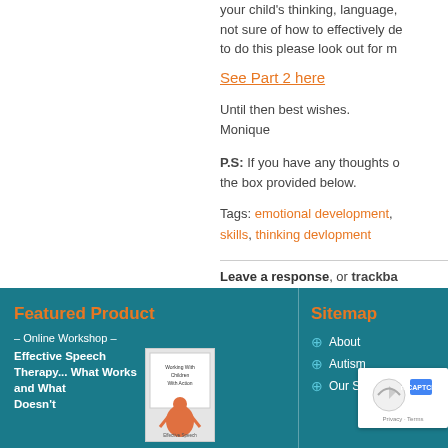your child's thinking, language, not sure of how to effectively do to do this please look out for m
See Part 2 here
Until then best wishes.
Monique
P.S: If you have any thoughts o the box provided below.
Tags: emotional development, skills, thinking devlopment
Leave a response, or trackba
Featured Product
– Online Workshop –
Effective Speech Therapy... What Works and What Doesn't
Sitemap
About
Autism
Our Services